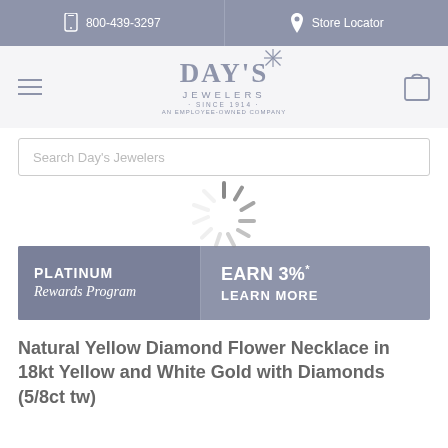800-439-3297 | Store Locator
[Figure (logo): Day's Jewelers logo with star, 'SINCE 1914' tagline and 'An Employee-Owned Company' subtext]
Search Day's Jewelers
[Figure (infographic): Loading spinner/throbber animation overlay on search bar]
[Figure (infographic): Platinum Rewards Program banner: PLATINUM Rewards Program | EARN 3%* LEARN MORE]
Natural Yellow Diamond Flower Necklace in 18kt Yellow and White Gold with Diamonds (5/8ct tw)